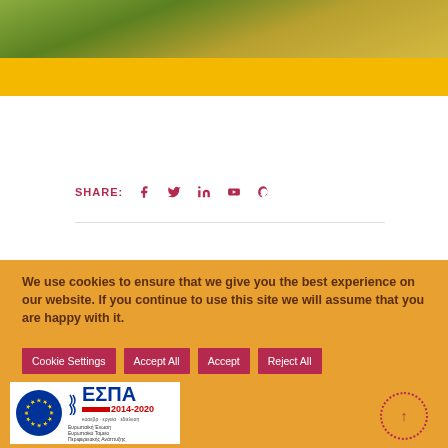[Figure (photo): Blurred green and yellow background photo strip showing foliage]
SHARE:  f  t  in  p
We use cookies to ensure that we give you the best experience on our website. If you continue to use this site we will assume that you are happy with it.
Cookie Settings  Accept All  Accept  Reject All
[Figure (logo): EU flag and ESPA 2014-2020 logo with Greek text]